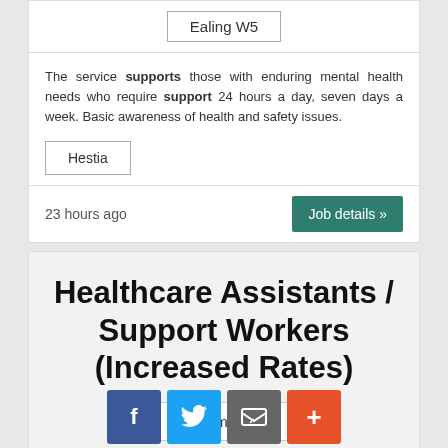Ealing W5
The service supports those with enduring mental health needs who require support 24 hours a day, seven days a week. Basic awareness of health and safety issues.
Hestia
23 hours ago
Job details »
Healthcare Assistants / Support Workers (Increased Rates)
Northumberland